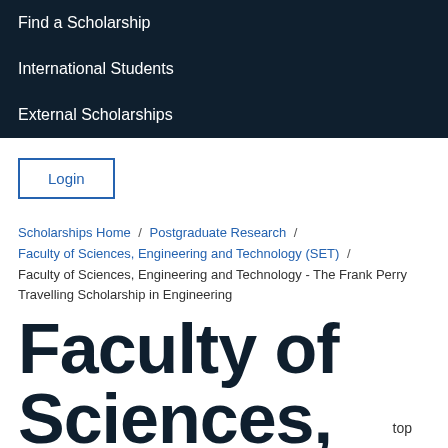Find a Scholarship
International Students
External Scholarships
Login
Scholarships Home / Postgraduate Research / Faculty of Sciences, Engineering and Technology (SET) / Faculty of Sciences, Engineering and Technology - The Frank Perry Travelling Scholarship in Engineering
Faculty of Sciences,